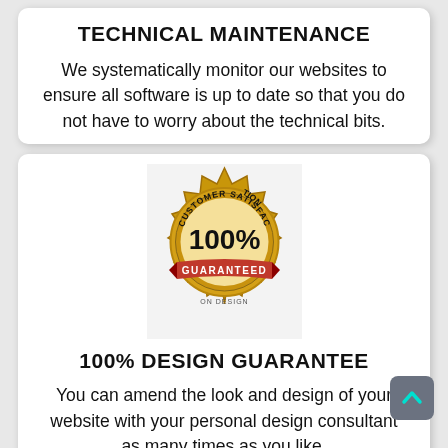TECHNICAL MAINTENANCE
We systematically monitor our websites to ensure all software is up to date so that you do not have to worry about the technical bits.
[Figure (logo): Customer Satisfaction 100% Guaranteed badge — gold seal with red banner, ON DESIGN text below]
100% DESIGN GUARANTEE
You can amend the look and design of your website with your personal design consultant as many times as you like.